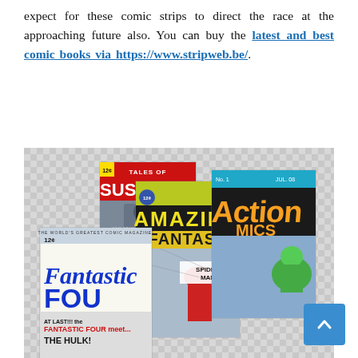expect for these comic strips to direct the race at the approaching future also. You can buy the latest and best comic books via https://www.stripweb.be/.
[Figure (photo): Photo showing multiple classic comic book covers including Tales of Suspense (Iron Man), Amazing Fantasy (Spider-Man), Action Comics, and Fantastic Four, displayed on a checkered background.]